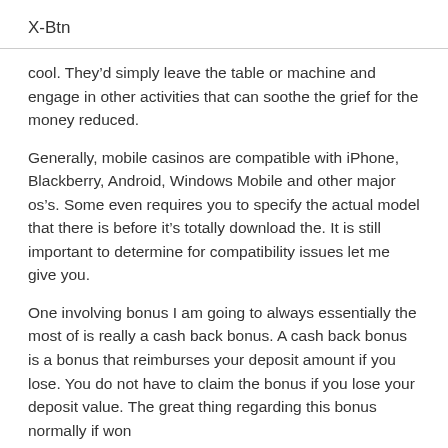X-Btn
cool. They’d simply leave the table or machine and engage in other activities that can soothe the grief for the money reduced.
Generally, mobile casinos are compatible with iPhone, Blackberry, Android, Windows Mobile and other major os’s. Some even requires you to specify the actual model that there is before it’s totally download the. It is still important to determine for compatibility issues let me give you.
One involving bonus I am going to always essentially the most of is really a cash back bonus. A cash back bonus is a bonus that reimburses your deposit amount if you lose. You do not have to claim the bonus if you lose your deposit value. The great thing regarding this bonus normally if won